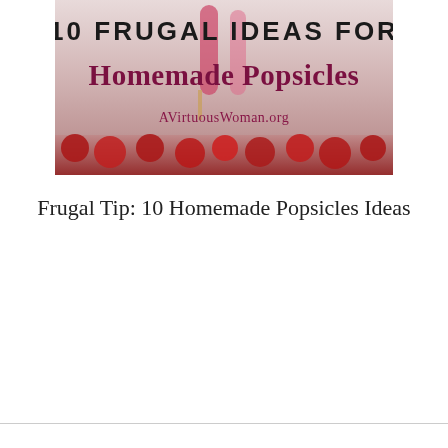[Figure (photo): Photo of homemade popsicles with raspberries on a white background. Overlaid text reads '10 FRUGAL IDEAS FOR Homemade Popsicles AVirtuousWoman.org']
Frugal Tip: 10 Homemade Popsicles Ideas